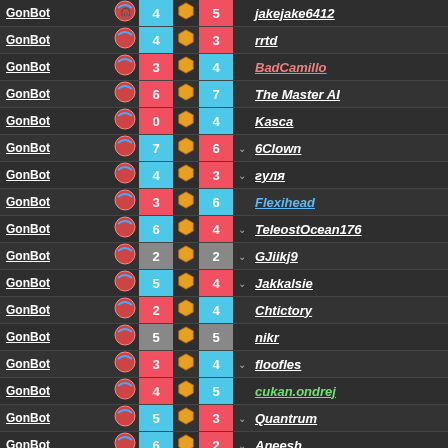| Bot | Icon | Score1 | Hex | Score2 | Arrow | Player |
| --- | --- | --- | --- | --- | --- | --- |
| GonBot |  | 4 | ◆ | 5 |  | jakejake6412 |
| GonBot |  | 4 | ◆ | 3 |  | rrtd |
| GonBot |  | 3 | ◆ | 4 |  | BadCamillo |
| GonBot |  | 6 | ◆ | 7 |  | The Master AI |
| GonBot |  | 0 | ◆ | 4 |  | Kasca |
| GonBot |  | 7 | ◆ | 6 | v | 6Clown |
| GonBot |  | 4 | ◆ | 3 | v | гуля |
| GonBot |  | 3 | ◆ | 6 |  | Flexihead |
| GonBot |  | 6 | ◆ | 4 | v | TeleostOcean176 |
| GonBot |  | 2 | ◆ | 2 | v | GJiikj9 |
| GonBot |  | 5 | ◆ | 4 | v | Jakkalsie |
| GonBot |  | 2 | ◆ | 4 |  | Chtictory |
| GonBot |  | 5 | ◆ | 5 |  | nikr |
| GonBot |  | 3 | ◆ | 4 | v | floofles |
| GonBot |  | 4 | ◆ | 5 |  | cukan.ondrej |
| GonBot |  | 5 | ◆ | 3 | v | Quantrum |
| GonBot |  | 6 | ◆ | 2 | v | Aneesh |